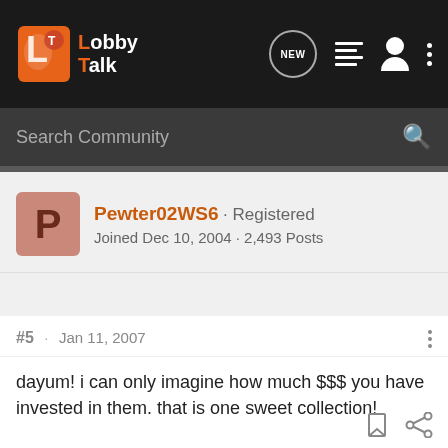LobbyTalk - Search Community
Pewter02WS6 · Registered
Joined Dec 10, 2004 · 2,493 Posts
#5 · Jan 11, 2007
dayum! i can only imagine how much $$$ you have invested in them. that is one sweet collection!